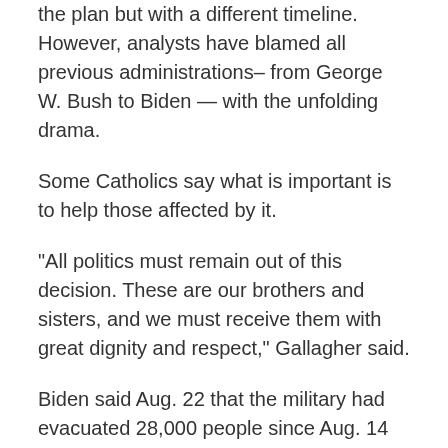the plan but with a different timeline. However, analysts have blamed all previous administrations– from George W. Bush to Biden — with the unfolding drama.
Some Catholics say what is important is to help those affected by it.
“All politics must remain out of this decision. These are our brothers and sisters, and we must receive them with great dignity and respect,” Gallagher said.
Biden said Aug. 22 that the military had evacuated 28,000 people since Aug. 14 from the Kabul airport and seemed set on an Aug. 31 full withdrawal of troops in what analysts said was to prevent precisely the kind of attack that took place Aug. 26.
McKenzie said at least 1,000 Americans were still in Afghanistan and the U.S. would do everything possible to get them out, “but not everybody wants to leave,” he said.
For its part, the church has been helping Afghans as best as it